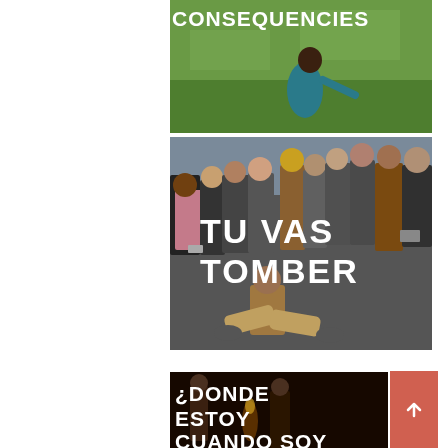[Figure (photo): Partial top image showing a person in a teal/blue shirt on green grass, with white bold text 'CONSEQUENCIES' overlaid at the top]
[Figure (photo): Photo of a large crowd of spectators watching a street performer or dancer crouching low, with white bold text 'TU VAS TOMBER' overlaid in the center]
[Figure (photo): Dark/black background photo with two figures, and white bold text '¿DONDE ESTOY CUANDO SOY' overlaid. A salmon/coral colored square element with a small caret/arrow icon appears to the right.]